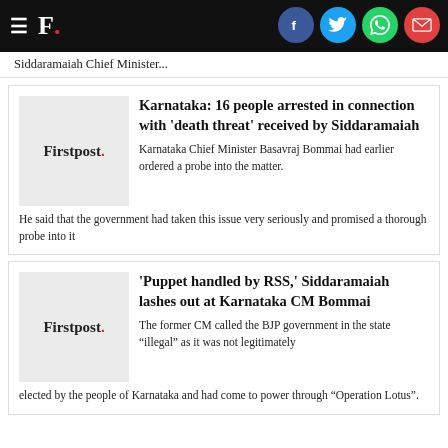Firstpost — navigation bar with social share icons
Siddaramaiah Chief Minister...
[Figure (logo): Firstpost logo thumbnail]
Karnataka: 16 people arrested in connection with 'death threat' received by Siddaramaiah
Karnataka Chief Minister Basavraj Bommai had earlier ordered a probe into the matter. He said that the government had taken this issue very seriously and promised a thorough probe into it
[Figure (logo): Firstpost logo thumbnail]
'Puppet handled by RSS,' Siddaramaiah lashes out at Karnataka CM Bommai
The former CM called the BJP government in the state “illegal” as it was not legitimately elected by the people of Karnataka and had come to power through “Operation Lotus”.